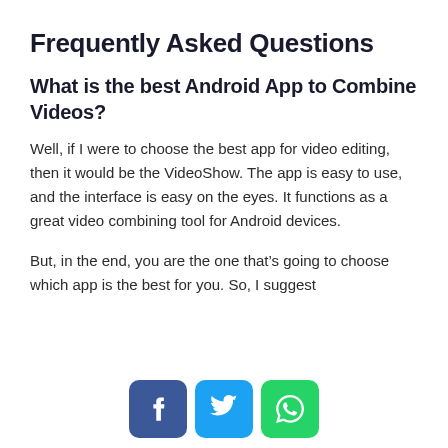Frequently Asked Questions
What is the best Android App to Combine Videos?
Well, if I were to choose the best app for video editing, then it would be the VideoShow. The app is easy to use, and the interface is easy on the eyes. It functions as a great video combining tool for Android devices.
But, in the end, you are the one that’s going to choose which app is the best for you. So, I suggest
[Figure (other): Social share buttons: Facebook (blue), Twitter (cyan), WhatsApp (green)]